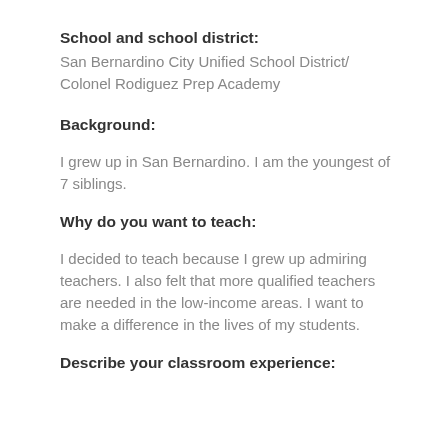School and school district:
San Bernardino City Unified School District/
Colonel Rodiguez Prep Academy
Background:
I grew up in San Bernardino. I am the youngest of 7 siblings.
Why do you want to teach:
I decided to teach because I grew up admiring teachers. I also felt that more qualified teachers are needed in the low-income areas. I want to make a difference in the lives of my students.
Describe your classroom experience: